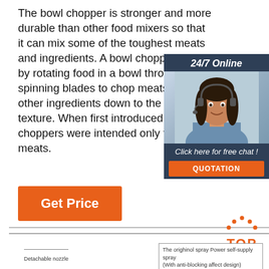The bowl chopper is stronger and more durable than other food mixers so that it can mix some of the toughest meats and ingredients. A bowl chopper works by rotating food in a bowl through spinning blades to chop meats and other ingredients down to the desired texture. When first introduced, bowl choppers were intended only to chop meats.
[Figure (infographic): Chat widget with dark blue background showing '24/7 Online' header, photo of a woman with a headset, text 'Click here for free chat!' and an orange QUOTATION button]
Get Price
[Figure (logo): Orange TOP badge with dots arranged in an arc above the word TOP in orange text]
Detachable nozzle
The orighinol spray Power self-supply spray (With anti-blocking affect design)